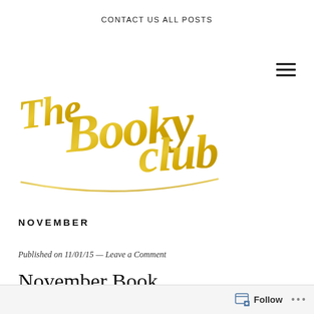CONTACT US   ALL POSTS
[Figure (logo): The Booky Club logo in gold cursive/script handwriting style]
NOVEMBER
Published on 11/01/15 — Leave a Comment
November Book
Follow ...